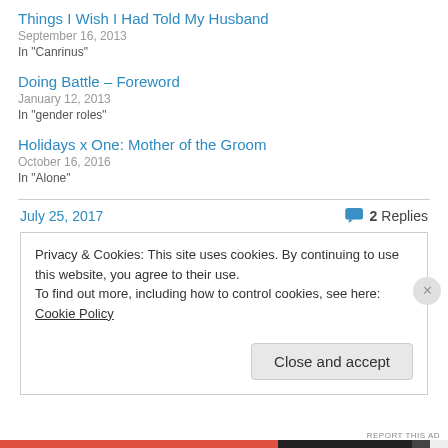Things I Wish I Had Told My Husband
September 16, 2013
In "Canrinus"
Doing Battle – Foreword
January 12, 2013
In "gender roles"
Holidays x One: Mother of the Groom
October 16, 2016
In "Alone"
July 25, 2017
2 Replies
Privacy & Cookies: This site uses cookies. By continuing to use this website, you agree to their use.
To find out more, including how to control cookies, see here: Cookie Policy
Close and accept